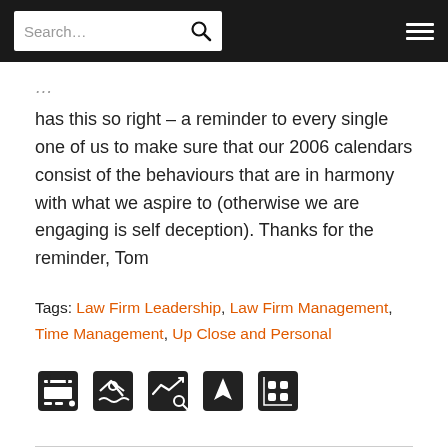Search...
has this so right – a reminder to every single one of us to make sure that our 2006 calendars consist of the behaviours that are in harmony with what we aspire to (otherwise we are engaging is self deception). Thanks for the reminder, Tom
Tags: Law Firm Leadership, Law Firm Management, Time Management, Up Close and Personal